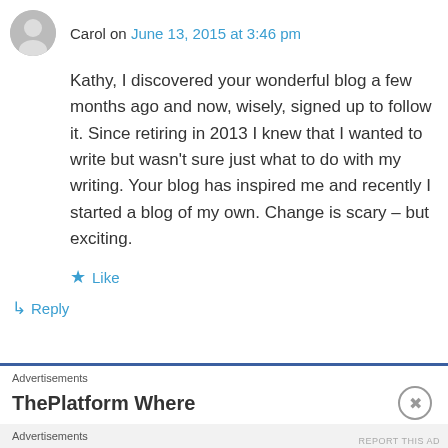Carol on June 13, 2015 at 3:46 pm
Kathy, I discovered your wonderful blog a few months ago and now, wisely, signed up to follow it. Since retiring in 2013 I knew that I wanted to write but wasn't sure just what to do with my writing. Your blog has inspired me and recently I started a blog of my own. Change is scary – but exciting.
★ Like
↳ Reply
Advertisements
ThePlatform Where
Advertisements